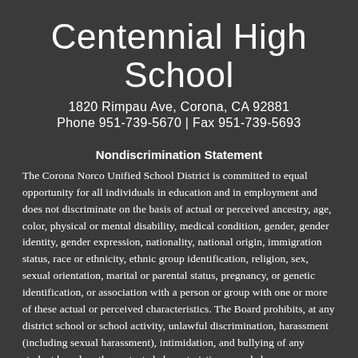Centennial High School
1820 Rimpau Ave, Corona, CA 92881
Phone 951-739-5670 | Fax 951-739-5693
Nondiscrimination Statement
The Corona Norco Unified School District is committed to equal opportunity for all individuals in education and in employment and does not discriminate on the basis of actual or perceived ancestry, age, color, physical or mental disability, medical condition, gender, gender identity, gender expression, nationality, national origin, immigration status, race or ethnicity, ethnic group identification, religion, sex, sexual orientation, marital or parental status, pregnancy, or genetic identification, or association with a person or group with one or more of these actual or perceived characteristics. The Board prohibits, at any district school or school activity, unlawful discrimination, harassment (including sexual harassment), intimidation, and bullying of any student based on the protected characteristics named above.